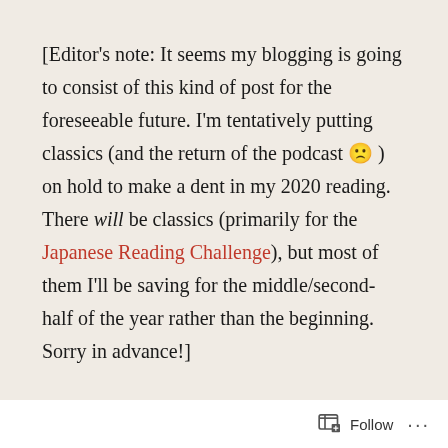[Editor's note: It seems my blogging is going to consist of this kind of post for the foreseeable future. I'm tentatively putting classics (and the return of the podcast 🙁 ) on hold to make a dent in my 2020 reading. There will be classics (primarily for the Japanese Reading Challenge), but most of them I'll be saving for the middle/second-half of the year rather than the beginning. Sorry in advance!]
Reading
A HISTORY OF EAST ASIA
Follow